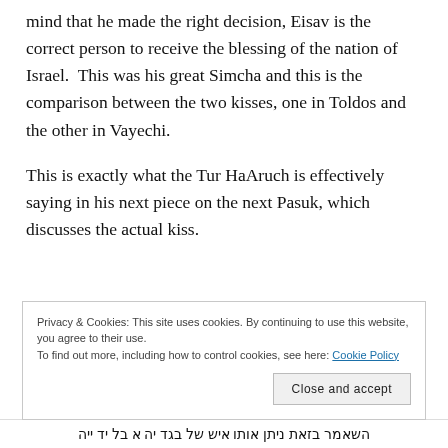mind that he made the right decision, Eisav is the correct person to receive the blessing of the nation of Israel.  This was his great Simcha and this is the comparison between the two kisses, one in Toldos and the other in Vayechi.
This is exactly what the Tur HaAruch is effectively saying in his next piece on the next Pasuk, which discusses the actual kiss.
Privacy & Cookies: This site uses cookies. By continuing to use this website, you agree to their use. To find out more, including how to control cookies, see here: Cookie Policy
Close and accept
Hebrew text bar at bottom